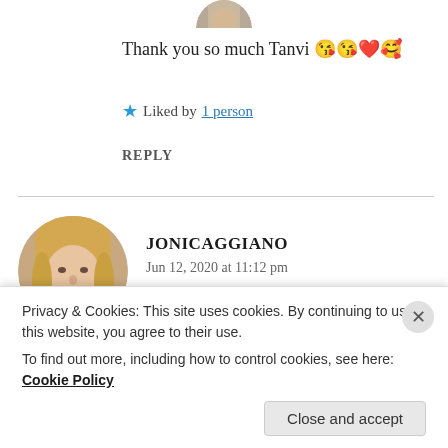[Figure (photo): Partial cropped circular avatar photo at top center]
Thank you so much Tanvi 😘😘❤️🥰
★ Liked by 1 person
REPLY
[Figure (photo): Circular avatar photo of a woman with blonde hair]
JONICAGGIANO
Jun 12, 2020 at 11:12 pm
Hi... friend t.b.it... and... congratulations...
Privacy & Cookies: This site uses cookies. By continuing to use this website, you agree to their use.
To find out more, including how to control cookies, see here: Cookie Policy
Close and accept